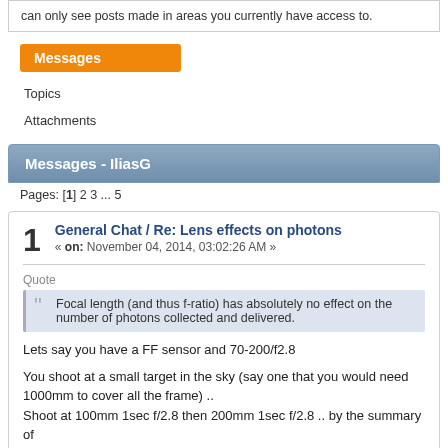can only see posts made in areas you currently have access to.
Messages
Topics
Attachments
Messages - IliasG
Pages: [1] 2 3 ... 5
1  General Chat / Re: Lens effects on photons
« on: November 04, 2014, 03:02:26 AM »
Quote
“Focal length (and thus f-ratio) has absolutely no effect on the number of photons collected and delivered.
Lets say you have a FF sensor and 70-200/f2.8

You shoot at a small target in the sky (say one that you would need 1000mm to cover all the frame) ..
Shoot at 100mm 1sec f/2.8 then 200mm 1sec f/2.8 .. by the summary of
1. Object flux (photons/second/square meter)